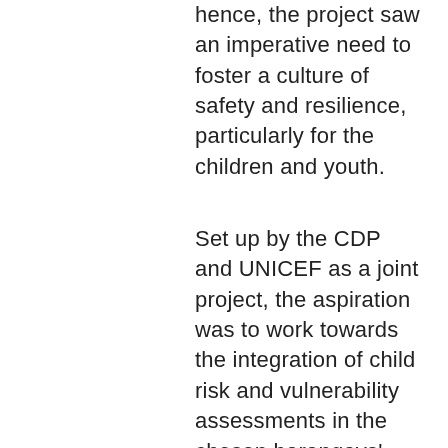hence, the project saw an imperative need to foster a culture of safety and resilience, particularly for the children and youth.
Set up by the CDP and UNICEF as a joint project, the aspiration was to work towards the integration of child risk and vulnerability assessments in the chosen barangays' planning processes with a particular emphasis on the engagement of the children and youth in risk management. Alongside this, local assistance was provided in the selected communities to adopt, promote and sustain behaviors and practices through resources, knowledge, skills and systems in place in order to improve their safety and resilience to stresses